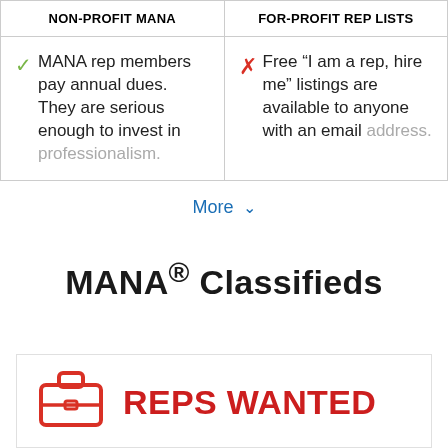| NON-PROFIT MANA | FOR-PROFIT REP LISTS |
| --- | --- |
| ✓ MANA rep members pay annual dues. They are serious enough to invest in professionalism. | ✗ Free "I am a rep, hire me" listings are available to anyone with an email address. |
More ∨
MANA® Classifieds
[Figure (illustration): Red briefcase icon followed by bold red text 'REPS WANTED']